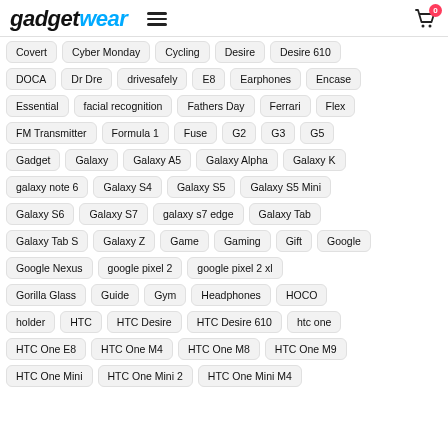gadgetwear
Covert
Cyber Monday
Cycling
Desire
Desire 610
DOCA
Dr Dre
drivesafely
E8
Earphones
Encase
Essential
facial recognition
Fathers Day
Ferrari
Flex
FM Transmitter
Formula 1
Fuse
G2
G3
G5
Gadget
Galaxy
Galaxy A5
Galaxy Alpha
Galaxy K
galaxy note 6
Galaxy S4
Galaxy S5
Galaxy S5 Mini
Galaxy S6
Galaxy S7
galaxy s7 edge
Galaxy Tab
Galaxy Tab S
Galaxy Z
Game
Gaming
Gift
Google
Google Nexus
google pixel 2
google pixel 2 xl
Gorilla Glass
Guide
Gym
Headphones
HOCO
holder
HTC
HTC Desire
HTC Desire 610
htc one
HTC One E8
HTC One M4
HTC One M8
HTC One M9
HTC One Mini
HTC One Mini 2
HTC One Mini M4